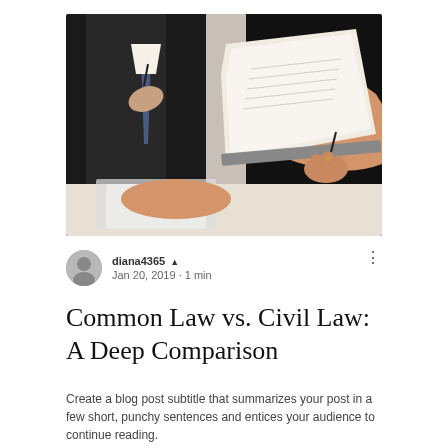[Figure (photo): Two people at a desk reviewing legal documents; a person in a suit on the left and a woman in a black dress on the right holding papers on a clipboard]
diana4365 ▲ Jan 20, 2019 · 1 min
Common Law vs. Civil Law: A Deep Comparison
Create a blog post subtitle that summarizes your post in a few short, punchy sentences and entices your audience to continue reading.